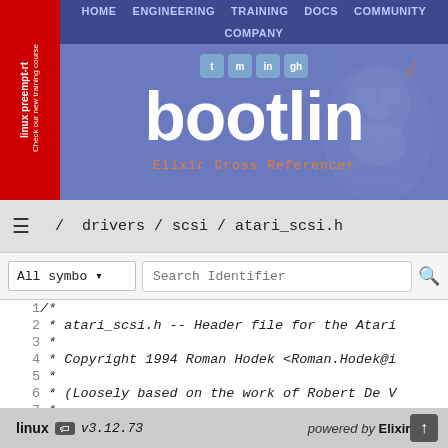[Figure (screenshot): Bootlin website header with navigation bar (HOME, ENGINEERING, TRAINING, DOCS, COMMUNITY, COMPANY), red sidebar with 'linux preempt-rt' rotated text, Bootlin logo in white, social media icons, Tux penguin silhouette, and 'Elixir Cross Referencer' tagline in orange monospace font on a blue-purple background.]
/ drivers / scsi / atari_scsi.h
All symbo ▾   Search Identifier
| line | code |
| --- | --- |
| 1 | /* |
| 2 |  * atari_scsi.h -- Header file for the Atari |
| 3 |  * |
| 4 |  * Copyright 1994 Roman Hodek <Roman.Hodek@i |
| 5 |  * |
| 6 |  * (Loosely based on the work of Robert De V |
| 7 |  * |
| 8 |  * This file is subject to the terms |
linux  v3.12.73    powered by  Elixir 2.1